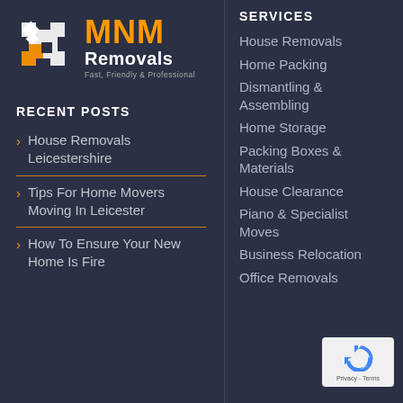[Figure (logo): MNM Removals logo with white puzzle-piece style van graphic icon in white and orange, text 'MNM' in orange bold, 'Removals' in white, tagline 'Fast, Friendly & Professional']
RECENT POSTS
House Removals Leicestershire
Tips For Home Movers Moving In Leicester
How To Ensure Your New Home Is Fire
SERVICES
House Removals
Home Packing
Dismantling & Assembling
Home Storage
Packing Boxes & Materials
House Clearance
Piano & Specialist Moves
Business Relocation
Office Removals
[Figure (logo): Google reCAPTCHA badge with blue recycling-style circular arrow logo and text 'Privacy - Terms']